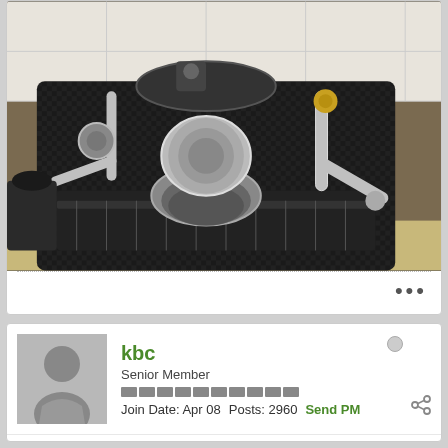[Figure (photo): Close-up photo of a professional espresso machine with chrome components, group head, portafilter basket, and steam wands on a dark drip tray]
•••
kbc
Senior Member
Join Date: Apr 08  Posts: 2960  Send PM
17 April 2016, 08:28 PM
#6
See my pics and video link on here to find out more about ECM Machines - https://sites.google.com/site/thekbe...resso-machines